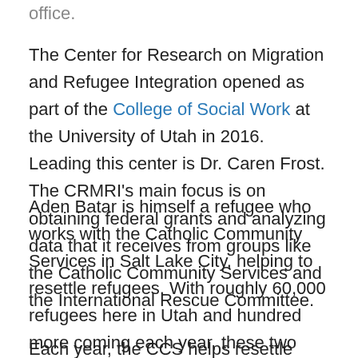office.
The Center for Research on Migration and Refugee Integration opened as part of the College of Social Work at the University of Utah in 2016. Leading this center is Dr. Caren Frost. The CRMRI's main focus is on obtaining federal grants and analyzing data that it receives from groups like the Catholic Community Services and the International Rescue Committee.
Aden Batar is himself a refugee who works with the Catholic Community Services in Salt Lake City, helping to resettle refugees. With roughly 60,000 refugees here in Utah and hundred more coming each year, these two organizations are working together to help make Salt Lake City home for refugees from around the world.
Each year, the CCS helps resettle roughly 400 to 500